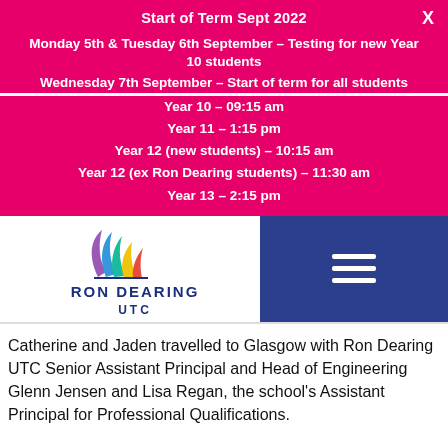Start of Term Sept 2022
Monday 5th & Tuesday 6th September – Testing for new Year 10 students
Wednesday 7th September – Start of term for all students
Year 10 – 09:15 am
Year 11 – 1:15 pm
Year 12 (new students) – 10:15 am
Year 12 (ex Ron Dearing students) – 11:30 am
Year 13 – 2:15 pm
[Figure (logo): Ron Dearing UTC logo with colourful wing/feather design above text RON DEARING UTC]
Catherine and Jaden travelled to Glasgow with Ron Dearing UTC Senior Assistant Principal and Head of Engineering Glenn Jensen and Lisa Regan, the school's Assistant Principal for Professional Qualifications.